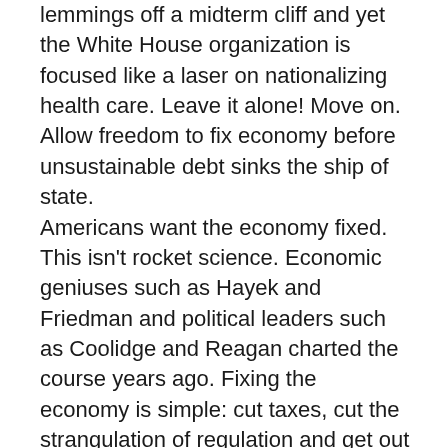lemmings off a midterm cliff and yet the White House organization is focused like a laser on nationalizing health care. Leave it alone! Move on. Allow freedom to fix economy before unsustainable debt sinks the ship of state.
Americans want the economy fixed. This isn't rocket science. Economic geniuses such as Hayek and Friedman and political leaders such as Coolidge and Reagan charted the course years ago. Fixing the economy is simple: cut taxes, cut the strangulation of regulation and get out of the way. Europe is sinking under the weight of its version of socialism and if we make America the haven of freedom capital and talent will flock to our shores. If we don't all that capital and talent may well flock to the rising colossus of the East. Forget the health care take over, the photo-ops and endless speeches we don't want this we